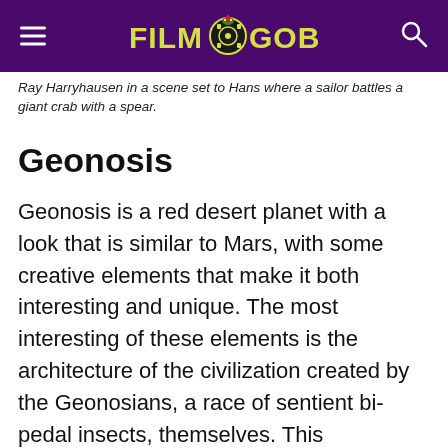Film Goblin
Ray Harryhausen in a scene set to Hans where a sailor battles a giant crab with a spear.
Geonosis
Geonosis is a red desert planet with a look that is similar to Mars, with some creative elements that make it both interesting and unique.  The most interesting of these elements is the architecture of the civilization created by the Geonosians, a race of sentient bi-pedal insects, themselves. This architecture, called Geonosian spires, looks like something that an advanced race of insects would create